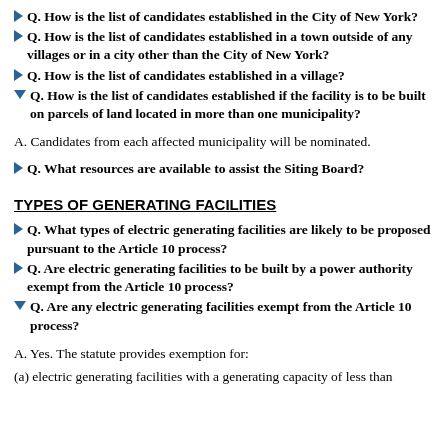Q. How is the list of candidates established in the City of New York?
Q. How is the list of candidates established in a town outside of any villages or in a city other than the City of New York?
Q. How is the list of candidates established in a village?
Q. How is the list of candidates established if the facility is to be built on parcels of land located in more than one municipality?
A. Candidates from each affected municipality will be nominated.
Q. What resources are available to assist the Siting Board?
TYPES OF GENERATING FACILITIES
Q. What types of electric generating facilities are likely to be proposed pursuant to the Article 10 process?
Q. Are electric generating facilities to be built by a power authority exempt from the Article 10 process?
Q. Are any electric generating facilities exempt from the Article 10 process?
A. Yes. The statute provides exemption for:
(a) electric generating facilities with a generating capacity of less than...